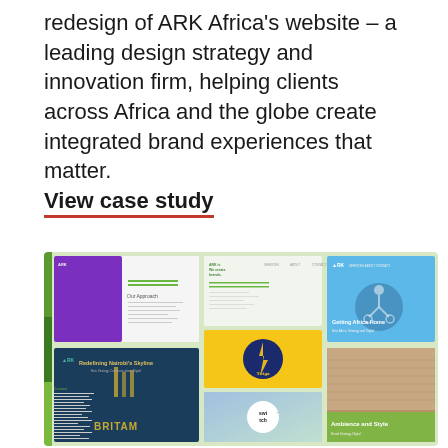redesign of ARK Africa's website – a leading design strategy and innovation firm, helping clients across Africa and the globe create integrated brand experiences that matter.
View case study
[Figure (screenshot): Collage of website screenshots showing the ARK Africa website redesign including pages featuring Twiga, Britam, Switch and other brand work with colorful purple, yellow, blue, and green design panels.]